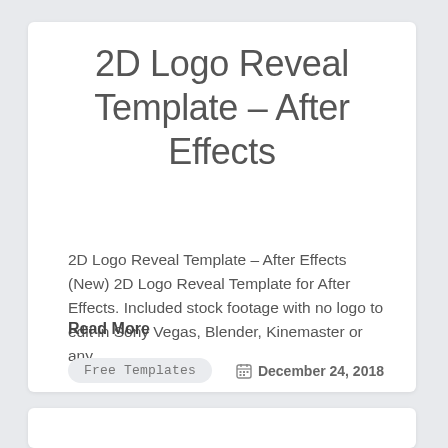2D Logo Reveal Template – After Effects
2D Logo Reveal Template – After Effects (New) 2D Logo Reveal Template for After Effects. Included stock footage with no logo to edit in Sony Vegas, Blender, Kinemaster or any…
Read More
Free Templates
December 24, 2018